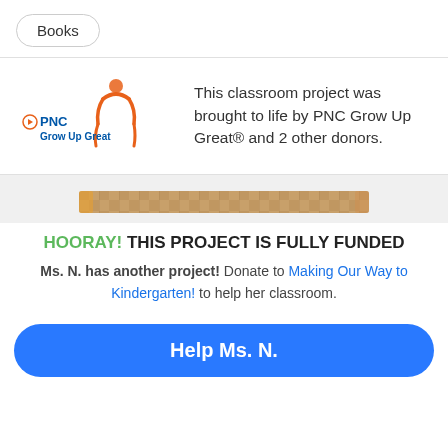Books
[Figure (logo): PNC Grow Up Great logo with orange figure and blue text]
This classroom project was brought to life by PNC Grow Up Great® and 2 other donors.
[Figure (photo): Photo of a colorful pencil or ruler bar]
HOORAY! THIS PROJECT IS FULLY FUNDED
Ms. N. has another project! Donate to Making Our Way to Kindergarten! to help her classroom.
Help Ms. N.